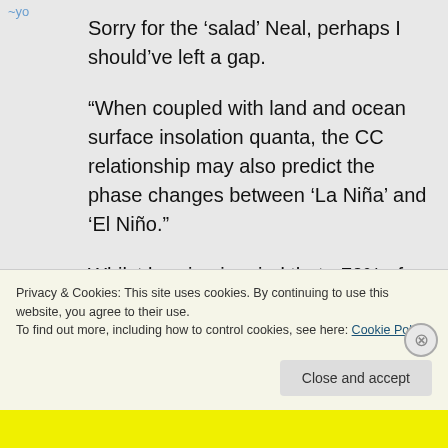Sorry for the ‘salad’ Neal, perhaps I should’ve left a gap.
“When coupled with land and ocean surface insolation quanta, the CC relationship may also predict the phase changes between ‘La Niña’ and ‘El Niño.”
Whilst bearing in mind that ~70% of global insolation strikes ocean
Privacy & Cookies: This site uses cookies. By continuing to use this website, you agree to their use.
To find out more, including how to control cookies, see here: Cookie Policy